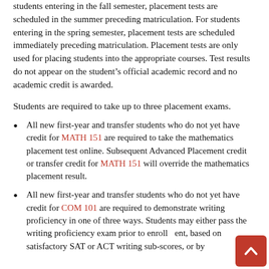students entering in the fall semester, placement tests are scheduled in the summer preceding matriculation. For students entering in the spring semester, placement tests are scheduled immediately preceding matriculation. Placement tests are only used for placing students into the appropriate courses. Test results do not appear on the student's official academic record and no academic credit is awarded.
Students are required to take up to three placement exams.
All new first-year and transfer students who do not yet have credit for MATH 151 are required to take the mathematics placement test online. Subsequent Advanced Placement credit or transfer credit for MATH 151 will override the mathematics placement result.
All new first-year and transfer students who do not yet have credit for COM 101 are required to demonstrate writing proficiency in one of three ways. Students may either pass the writing proficiency exam prior to enrollment, based on satisfactory SAT or ACT writing sub-scores, or by